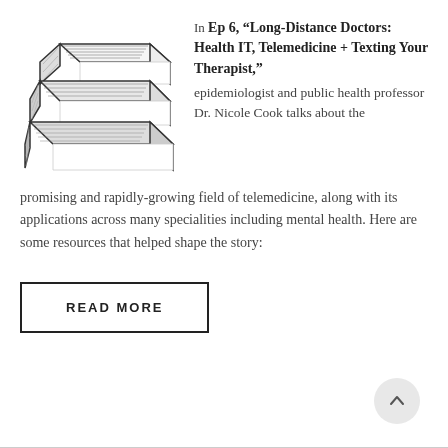[Figure (illustration): Stack of books illustration, hand-drawn style in dark ink on white background]
In Ep 6, “Long-Distance Doctors: Health IT, Telemedicine + Texting Your Therapist,” epidemiologist and public health professor Dr. Nicole Cook talks about the promising and rapidly-growing field of telemedicine, along with its applications across many specialities including mental health. Here are some resources that helped shape the story:
READ MORE